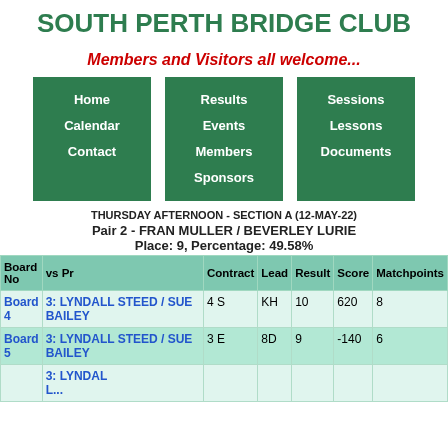SOUTH PERTH BRIDGE CLUB
Members and Visitors all welcome...
Home
Calendar
Contact
Results
Events
Members
Sponsors
Sessions
Lessons
Documents
THURSDAY AFTERNOON - SECTION A (12-MAY-22)
Pair 2 - FRAN MULLER / BEVERLEY LURIE
Place: 9, Percentage: 49.58%
| Board No | vs Pr | Contract | Lead | Result | Score | Matchpoints |
| --- | --- | --- | --- | --- | --- | --- |
| Board 4 | 3: LYNDALL STEED / SUE BAILEY | 4 S | KH | 10 | 620 | 8 |
| Board 5 | 3: LYNDALL STEED / SUE BAILEY | 3 E | 8D | 9 | -140 | 6 |
| Board ... | 3: LYNDALL... |  |  |  |  |  |